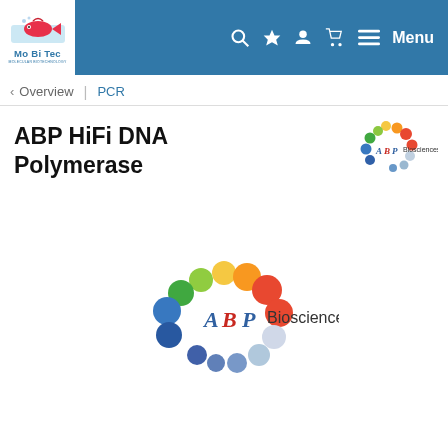Mo Bi Tec - Molecular Biotechnology - Navigation: Overview | PCR
ABP HiFi DNA Polymerase
[Figure (logo): ABP Biosciences logo - small, top right]
[Figure (logo): ABP Biosciences logo - large, center of page]